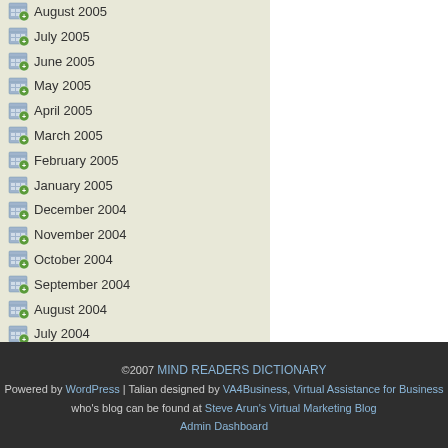August 2005
July 2005
June 2005
May 2005
April 2005
March 2005
February 2005
January 2005
December 2004
November 2004
October 2004
September 2004
August 2004
July 2004
June 2004
©2007 MIND READERS DICTIONARY | Powered by WordPress | Talian designed by VA4Business, Virtual Assistance for Business who's blog can be found at Steve Arun's Virtual Marketing Blog | Admin Dashboard